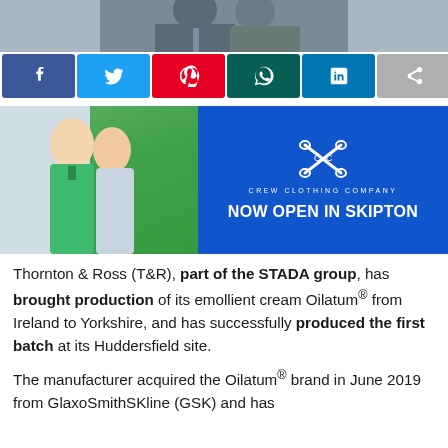[Figure (photo): Top cropped photo of two people in business attire, partially visible at top of page]
[Figure (other): Social media sharing buttons: Facebook, Twitter, Pinterest, WhatsApp, LinkedIn, Share]
[Figure (photo): Crew Clothing Company advertisement banner showing male and female models in casual clothing on left (blue/green background), and on right side blue background with Crew Clothing Company logo and text NOW OPEN IN SKIPTON]
Thornton & Ross (T&R), part of the STADA group, has brought production of its emollient cream Oilatum® from Ireland to Yorkshire, and has successfully produced the first batch at its Huddersfield site.
The manufacturer acquired the Oilatum® brand in June 2019 from GlaxoSmithSKline (GSK) and has